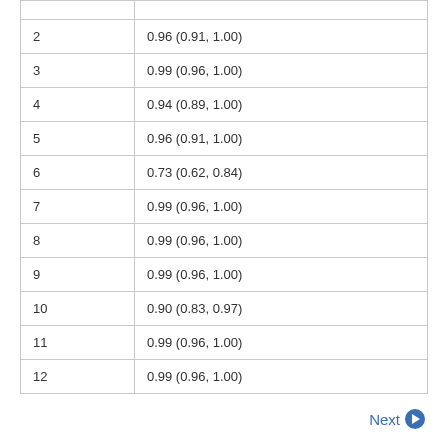| 2 | 0.96 (0.91, 1.00) |
| 3 | 0.99 (0.96, 1.00) |
| 4 | 0.94 (0.89, 1.00) |
| 5 | 0.96 (0.91, 1.00) |
| 6 | 0.73 (0.62, 0.84) |
| 7 | 0.99 (0.96, 1.00) |
| 8 | 0.99 (0.96, 1.00) |
| 9 | 0.99 (0.96, 1.00) |
| 10 | 0.90 (0.83, 0.97) |
| 11 | 0.99 (0.96, 1.00) |
| 12 | 0.99 (0.96, 1.00) |
Next